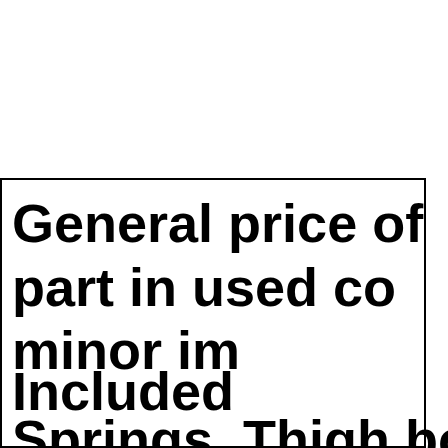General price of part in used co minor im Included Springs. Thigh bo